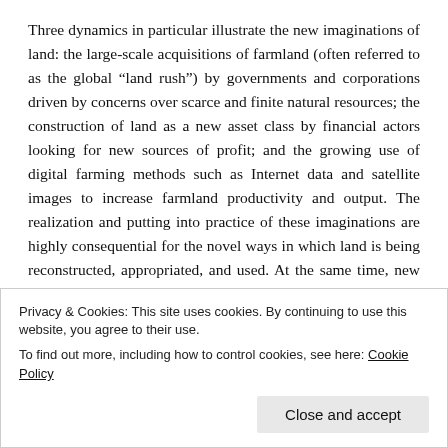Three dynamics in particular illustrate the new imaginations of land: the large-scale acquisitions of farmland (often referred to as the global “land rush”) by governments and corporations driven by concerns over scarce and finite natural resources; the construction of land as a new asset class by financial actors looking for new sources of profit; and the growing use of digital farming methods such as Internet data and satellite images to increase farmland productivity and output. The realization and putting into practice of these imaginations are highly consequential for the novel ways in which land is being reconstructed, appropriated, and used. At the same time, new visions of how to utilize and engage with land do not
Privacy & Cookies: This site uses cookies. By continuing to use this website, you agree to their use.
To find out more, including how to control cookies, see here: Cookie Policy